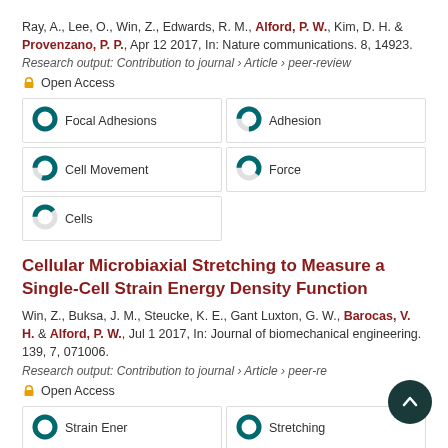Ray, A., Lee, O., Win, Z., Edwards, R. M., Alford, P. W., Kim, D. H. & Provenzano, P. P., Apr 12 2017, In: Nature communications. 8, 14923.
Research output: Contribution to journal › Article › peer-review
Open Access
[Figure (infographic): Keyword badges with donut-style percentage indicators: Focal Adhesions ~100%, Adhesion ~75%, Cell Movement ~80%, Force ~60%, Cells ~40%]
Cellular Microbiaxial Stretching to Measure a Single-Cell Strain Energy Density Function
Win, Z., Buksa, J. M., Steucke, K. E., Gant Luxton, G. W., Barocas, V. H. & Alford, P. W., Jul 1 2017, In: Journal of biomechanical engineering. 139, 7, 071006.
Research output: Contribution to journal › Article › peer-review
Open Access
[Figure (infographic): Keyword badges partially visible: Strain Energy ~100%, Stretching ~100%]